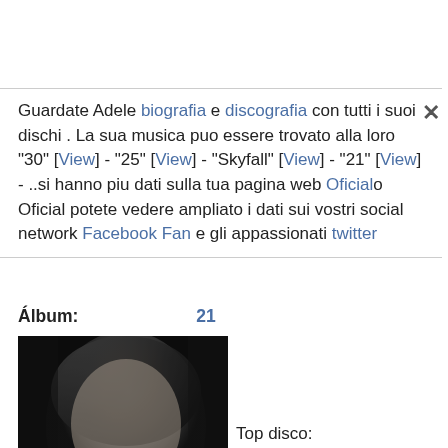Guardate Adele biografia e discografia con tutti i suoi dischi . La sua musica puo essere trovato alla loro "30" [View] - "25" [View] - "Skyfall" [View] - "21" [View] - ..si hanno piu dati sulla tua pagina web Oficial o Oficial potete vedere ampliato i dati sui vostri social network Facebook Fan e gli appassionati twitter
Álbum: 21
[Figure (photo): Black and white album cover photo of Adele for her album '21', showing a close-up portrait of a woman with the text 'ADELE 21' at the bottom]
Top disco: